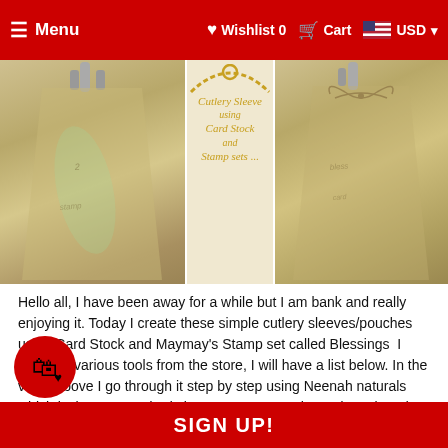Menu   Wishlist 0   Cart   USD
[Figure (photo): Three-panel image showing cutlery sleeves/pouches made from card stock. Left panel shows a metallic tan sleeve with silverware inserted. Center panel shows the text 'Cutlery Sleeve using Card Stock and Stamp sets...' in gold italic script with a decorative necklace arc above. Right panel shows a plain tan sleeve with a bow/knot detail at top.]
Hello all, I have been away for a while but I am bank and really enjoying it. Today I create these simple cutlery sleeves/pouches using Card Stock and Maymay's Stamp set called Blessings  I also use various tools from the store, I will have a list below. In the video above I go through it step by step using Neenah naturals  which is the US standard size paper I love the end result and think these sleeves could be
SIGN UP!